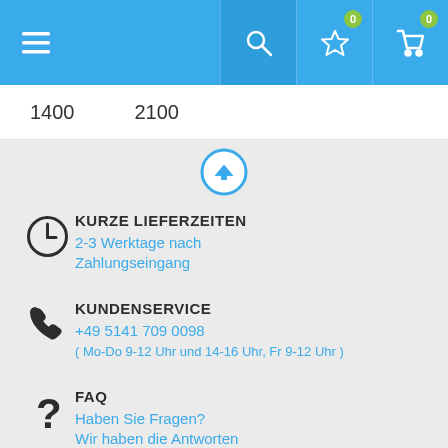[Figure (screenshot): Mobile app navigation bar with hamburger menu, search icon, wishlist icon with badge 0, and cart icon with badge 0 on blue background]
1400    2100
[Figure (other): Scroll-to-top circle button with upward arrow on light gray background]
KURZE LIEFERZEITEN
2-3 Werktage nach Zahlungseingang
KUNDENSERVICE
+49 5141 709 0098
( Mo-Do 9-12 Uhr und 14-16 Uhr, Fr 9-12 Uhr )
FAQ
Haben Sie Fragen?
Wir haben die Antworten